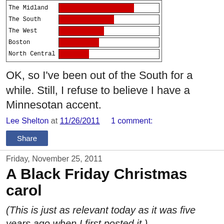[Figure (bar-chart): Dialect regions bar chart]
OK, so I've been out of the South for a while. Still, I refuse to believe I have a Minnesotan accent.
Lee Shelton at 11/26/2011   1 comment:
Share
Friday, November 25, 2011
A Black Friday Christmas carol
(This is just as relevant today as it was five years ago when I first posted it.)
Wreck the malls with bouts of folly
Fa la la la la la la la la!